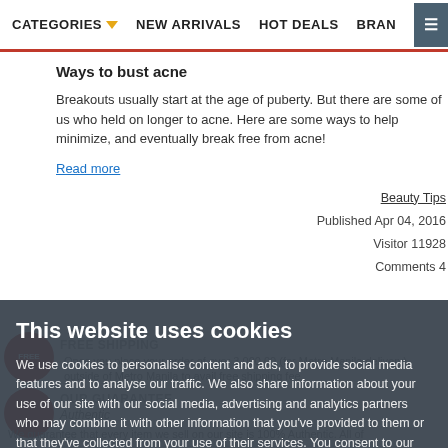CATEGORIES  NEW ARRIVALS  HOT DEALS  BRANCHES
Ways to bust acne
Breakouts usually start at the age of puberty. But there are some of us who held on longer to acne. Here are some ways to help minimize, and eventually break free from acne!
Read more
Beauty Tips
Published Apr 04, 2016
Visitor 11928
Comments 4
This website uses cookies
We use cookies to personalise content and ads, to provide social media features and to analyse our traffic. We also share information about your use of our site with our social media, advertising and analytics partners who may combine it with other information that you've provided to them or that they've collected from your use of their services. You consent to our cookies if you continue to use our website.
Read our Privacy policy.
Agree
FREE SHIPPING
Once you place your order of over 3,000.00 (for Metro Manila delivery) outside of Metro Manila to avail free shipping fee.
OUR GUARANTEE
Authentic
We guarantee that every item we sell on our site is 100% Authentic. All of